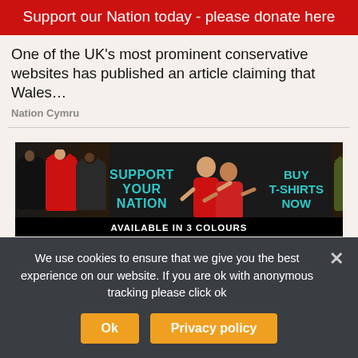Support our Nation today - please donate here
One of the UK’s most prominent conservative websites has published an article claiming that Wales…
Nation Cymru
[Figure (advertisement): T-shirt advertisement banner: 'SUPPORT YOUR NATION', 'BUY T-SHIRTS NOW', 'AVAILABLE IN 3 COLOURS' with people wearing red and black t-shirts]
We use cookies to ensure that we give you the best experience on our website. If you are ok with anonymous tracking please click ok
Ok
Privacy policy